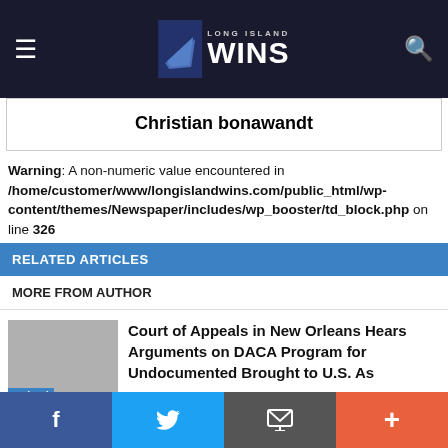Long Island Wins
Christian bonawandt
Warning: A non-numeric value encountered in /home/customer/www/longislandwins.com/public_html/wp-content/themes/Newspaper/includes/wp_booster/td_block.php on line 326
RELATED ARTICLES
MORE FROM AUTHOR
Court of Appeals in New Orleans Hears Arguments on DACA Program for Undocumented Brought to U.S. As
National